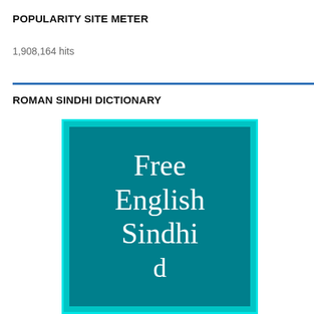POPULARITY SITE METER
1,908,164 hits
ROMAN SINDHI DICTIONARY
[Figure (illustration): Book cover image with teal/dark teal background showing text 'Free English Sindhi d...' in white serif font, with a cyan border and double inner border.]